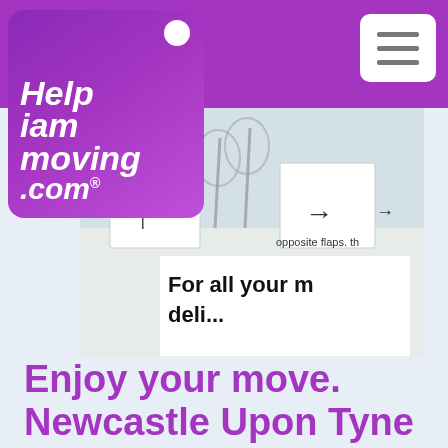[Figure (logo): Help I am moving .com logo with purple gradient background and white heart icon, white italic bold text]
[Figure (photo): Photo of a moving box with wine glasses and printed moving instructions text 'For all your mo...' and diagram of box folding]
Enjoy your move. Newcastle Upon Tyne
A Good tip on moving day is to have someone stand at the main entrance in, so they can point the removal men in the right direction with furniture and boxes. Remember all the furniture and boxes are yours so don't expect the removal men to know where you would like things to go. If you are having boxes unpacked, the contents will usually be